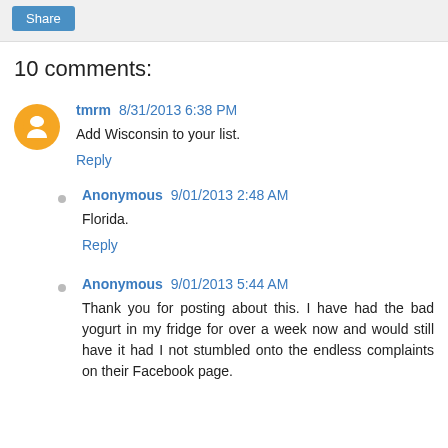Share
10 comments:
tmrm 8/31/2013 6:38 PM
Add Wisconsin to your list.
Reply
Anonymous 9/01/2013 2:48 AM
Florida.
Reply
Anonymous 9/01/2013 5:44 AM
Thank you for posting about this. I have had the bad yogurt in my fridge for over a week now and would still have it had I not stumbled onto the endless complaints on their Facebook page.